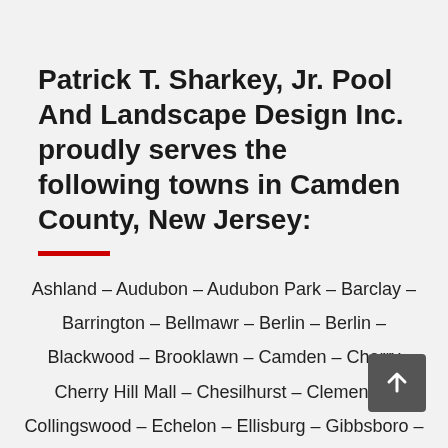Patrick T. Sharkey, Jr. Pool And Landscape Design Inc. proudly serves the following towns in Camden County, New Jersey:
Ashland – Audubon – Audubon Park – Barclay – Barrington – Bellmawr – Berlin – Berlin – Blackwood – Brooklawn – Camden – Cherry – Cherry Hill Mall – Chesilhurst – Clementon – Collingswood – Echelon – Ellisburg – Gibbsboro – Glendora – Gloucester – Golden Triangle –